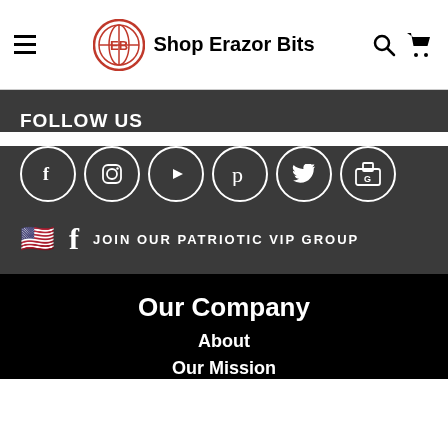Shop Erazor Bits
FOLLOW US
[Figure (infographic): Row of six social media icon circles: Facebook, Instagram, YouTube, Pinterest, Twitter, Google My Business]
JOIN OUR PATRIOTIC VIP GROUP
Our Company
About
Our Mission